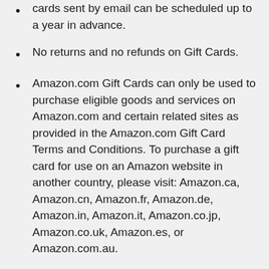cards sent by email can be scheduled up to a year in advance.
No returns and no refunds on Gift Cards.
Amazon.com Gift Cards can only be used to purchase eligible goods and services on Amazon.com and certain related sites as provided in the Amazon.com Gift Card Terms and Conditions. To purchase a gift card for use on an Amazon website in another country, please visit: Amazon.ca, Amazon.cn, Amazon.fr, Amazon.de, Amazon.in, Amazon.it, Amazon.co.jp, Amazon.co.uk, Amazon.es, or Amazon.com.au.